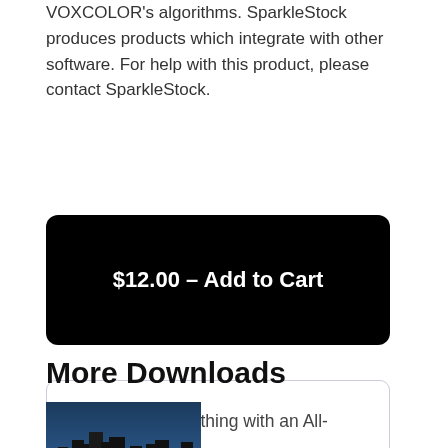VOXCOLOR's algorithms. SparkleStock produces products which integrate with other software. For help with this product, please contact SparkleStock.
$12.00 – Add to Cart
Download everything with an All-Access Pass.
Join Now
More Downloads
[Figure (photo): Thumbnail image showing cityscape (Vancouver) with number 50 overlay]